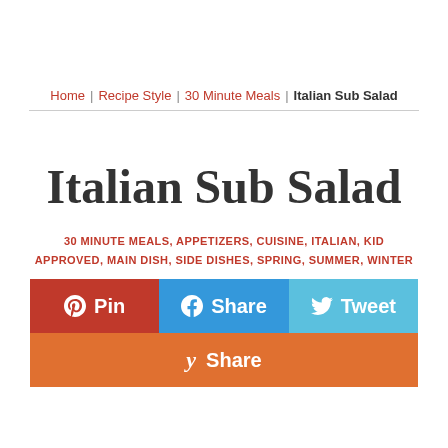Home | Recipe Style | 30 Minute Meals | Italian Sub Salad
Italian Sub Salad
30 MINUTE MEALS, APPETIZERS, CUISINE, ITALIAN, KID APPROVED, MAIN DISH, SIDE DISHES, SPRING, SUMMER, WINTER
[Figure (infographic): Social share buttons: Pin (red/Pinterest), Share (blue/Facebook), Tweet (light blue/Twitter), Share (orange/Yummly)]